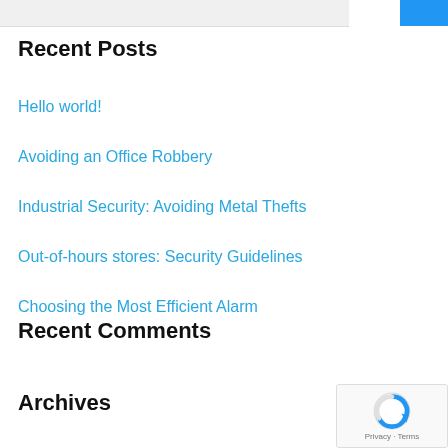Recent Posts
Hello world!
Avoiding an Office Robbery
Industrial Security: Avoiding Metal Thefts
Out-of-hours stores: Security Guidelines
Choosing the Most Efficient Alarm
Recent Comments
Archives